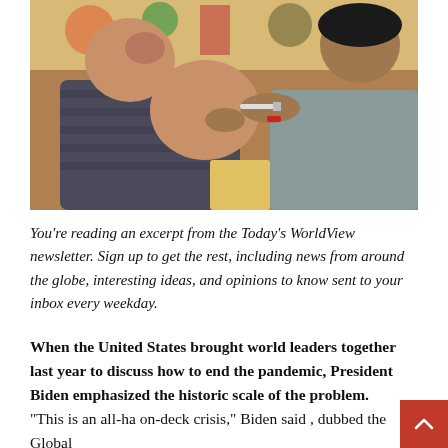[Figure (photo): A child covering their face while a healthcare worker administers a vaccine injection into their arm. The child is shirtless on one side. The setting appears to be a colorful room, possibly a clinic or school. The healthcare worker wears a gray top and has a red bracelet.]
You’re reading an excerpt from the Today’s WorldView newsletter. Sign up to get the rest, including news from around the globe, interesting ideas, and opinions to know sent to your inbox every weekday.
When the United States brought world leaders together last year to discuss how to end the pandemic, President Biden emphasized the historic scale of the problem. “This is an all-ha on-deck crisis,” Biden said , dubbed the Global